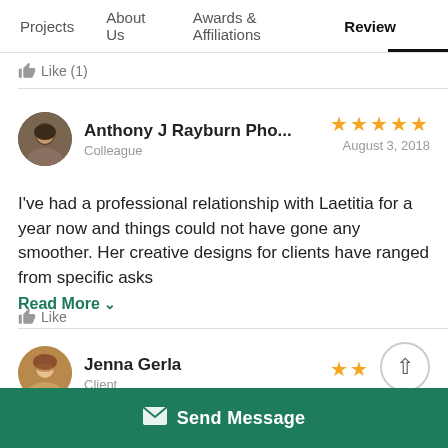Projects  About Us  Awards & Affiliations  Review
Like (1)
Anthony J Rayburn Pho...
Colleague
August 3, 2018
★★★★★
I've had a professional relationship with Laetitia for a year now and things could not have gone any smoother. Her creative designs for clients have ranged from specific asks
Read More ∨
Like
Jenna Gerla
Client
November 10, 2017
★★
Send Message